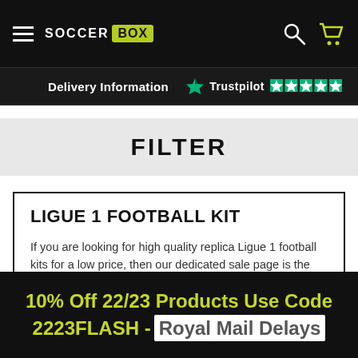SOCCER BOX — Navigation bar with hamburger menu, logo, search and cart icons
Delivery Information
[Figure (logo): Trustpilot logo with 5 green stars]
FILTER
LIGUE 1 FOOTBALL KIT
If you are looking for high quality replica Ligue 1 football kits for a low price, then our dedicated sale page is the place for
10% Off 22/23 Products Use Code 2223FLASH - Royal Mail Delays